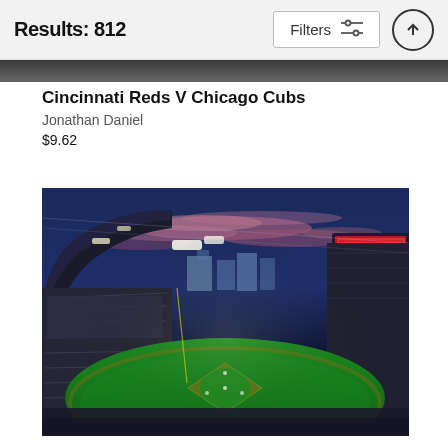Results: 812
Cincinnati Reds V Chicago Cubs
Jonathan Daniel
$9.62
[Figure (photo): Wide-angle panoramic photo of a baseball stadium at dusk/night. The stadium is fully packed with fans. The field shows a bright green diamond under lights. A large scoreboard/jumbotron is visible on the right. The sky is deep blue with dramatic pink and purple clouds. The stadium curves around the left side of the frame.]